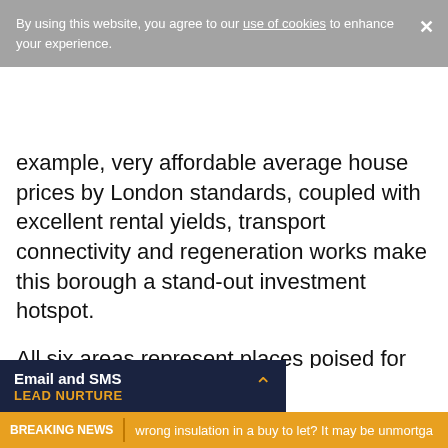By using this website, you agree to our use of cookies to enhance your experience.
example, very affordable average house prices by London standards, coupled with excellent rental yields, transport connectivity and regeneration works make this borough a stand-out investment hotspot.
All six areas represent places poised for both capital and rental yield growth, given current property price points, rental yields and regeneration-related projections. Landlords need to invest in areas that are hotting up but still considerable price
Email and SMS LEAD NURTURE
BREAKING NEWS  wrong insulation in a buy to let? It may be unmortga